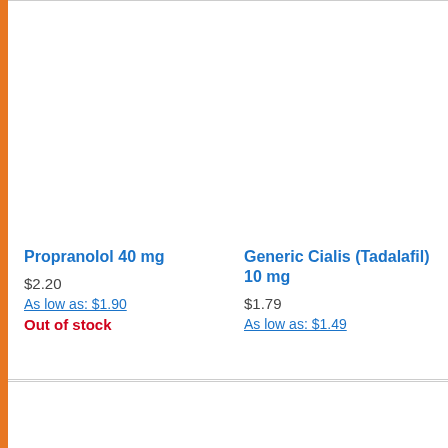Propranolol 40 mg
$2.20
As low as: $1.90
Out of stock
Generic Cialis (Tadalafil) 10 mg
$1.79
As low as: $1.49
Kamini ... Jelly 10...
$5.00
As low as...